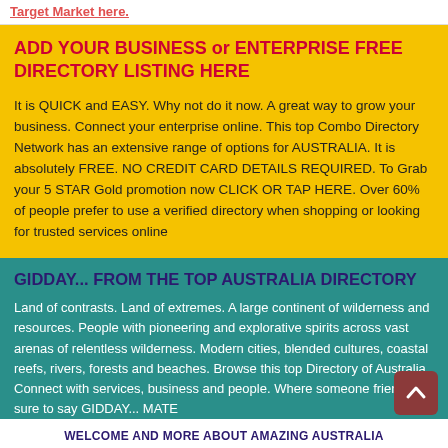Target Market here.
ADD YOUR BUSINESS or ENTERPRISE FREE DIRECTORY LISTING HERE
It is QUICK and EASY. Why not do it now. A great way to grow your business. Connect your enterprise online. This top Combo Directory Network has an extensive range of options for AUSTRALIA. It is absolutely FREE. NO CREDIT CARD DETAILS REQUIRED. To Grab your 5 STAR Gold promotion now CLICK OR TAP HERE. Over 60% of people prefer to use a verified directory when shopping or looking for trusted services online
GIDDAY... FROM THE TOP AUSTRALIA DIRECTORY
Land of contrasts. Land of extremes. A large continent of wilderness and resources. People with pioneering and explorative spirits across vast arenas of relentless wilderness. Modern cities, blended cultures, coastal reefs, rivers, forests and beaches. Browse this top Directory of Australia. Connect with services, business and people. Where someone friendly is sure to say GIDDAY... MATE
WELCOME AND MORE ABOUT AMAZING AUSTRALIA